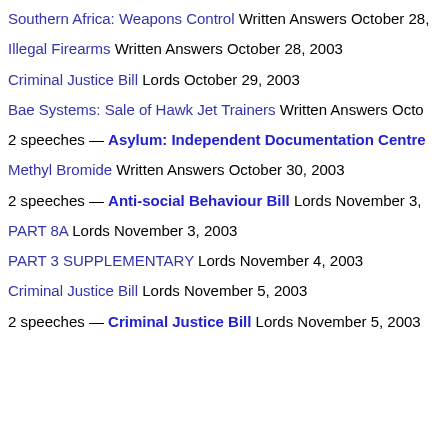Southern Africa: Weapons Control Written Answers October 28,
Illegal Firearms Written Answers October 28, 2003
Criminal Justice Bill Lords October 29, 2003
Bae Systems: Sale of Hawk Jet Trainers Written Answers Octo
2 speeches — Asylum: Independent Documentation Centre
Methyl Bromide Written Answers October 30, 2003
2 speeches — Anti-social Behaviour Bill Lords November 3,
PART 8A Lords November 3, 2003
PART 3 SUPPLEMENTARY Lords November 4, 2003
Criminal Justice Bill Lords November 5, 2003
2 speeches — Criminal Justice Bill Lords November 5, 2003